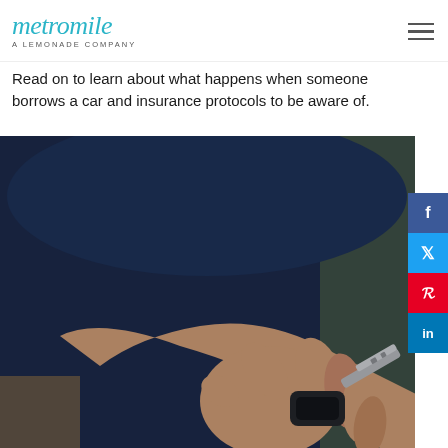metromile — A LEMONADE COMPANY
Read on to learn about what happens when someone borrows a car and insurance protocols to be aware of.
[Figure (photo): Close-up of a hand holding a car key fob, with a blurred dark blue background suggesting a person wearing a dark shirt.]